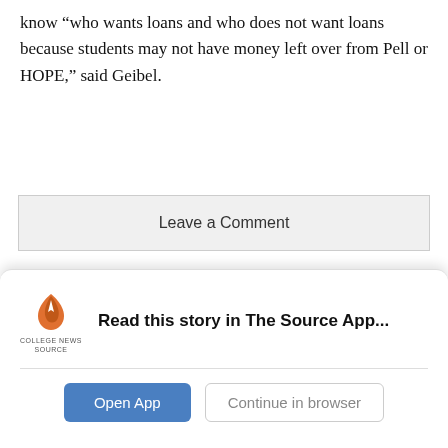know “who wants loans and who does not want loans because students may not have money left over from Pell or HOPE,” said Geibel.
Leave a Comment
‘Heartstopper:’ The limits of self-publishing
Non-native English-speaking students have difficulty
[Figure (infographic): College News Source app banner with logo, 'Read this story in The Source App...' text, Open App button and Continue in browser button]